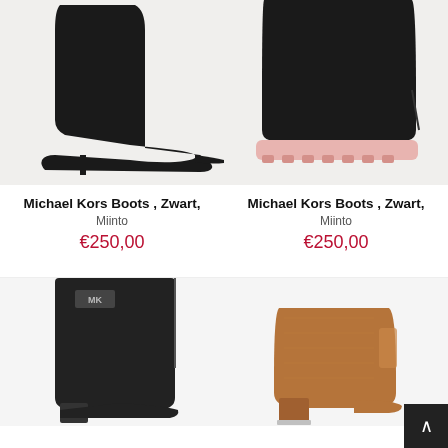[Figure (photo): Black stiletto heel ankle boot from Michael Kors, side view on white background]
Michael Kors Boots , Zwart,
Miinto
€250,00
[Figure (photo): Black chunky platform boot with pink lug sole from Michael Kors, side view on white background]
Michael Kors Boots , Zwart,
Miinto
€250,00
[Figure (photo): Black ankle boot with block heel and silver MK logo hardware, from Michael Kors]
[Figure (photo): Tan/brown suede ankle boot with block heel and silver base trim]